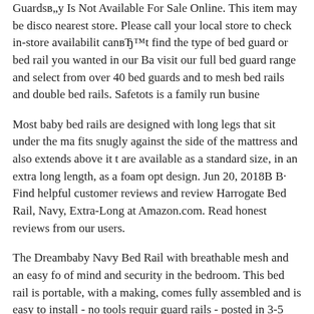Guardsв„y Is Not Available For Sale Online. This item may be disco nearest store. Please call your local store to check in-store availabilit canвЂ™t find the type of bed guard or bed rail you wanted in our Ba visit our full bed guard range and select from over 40 bed guards and to mesh bed rails and double bed rails. Safetots is a family run busine
Most baby bed rails are designed with long legs that sit under the ma fits snugly against the side of the mattress and also extends above it t are available as a standard size, in an extra long length, as a foam opt design. Jun 20, 2018В В· Find helpful customer reviews and review Harrogate Bed Rail, Navy, Extra-Long at Amazon.com. Read honest reviews from our users.
The Dreambaby Navy Bed Rail with breathable mesh and an easy fo of mind and security in the bedroom. This bed rail is portable, with a making, comes fully assembled and is easy to install - no tools requir guard rails - posted in 3-5 Years: I have posted this in Product review helps as DS will move into a big bed soon - and I have been looking
150cm Pink Baby Child Toddler Bed Rail Safety Protection Guard T